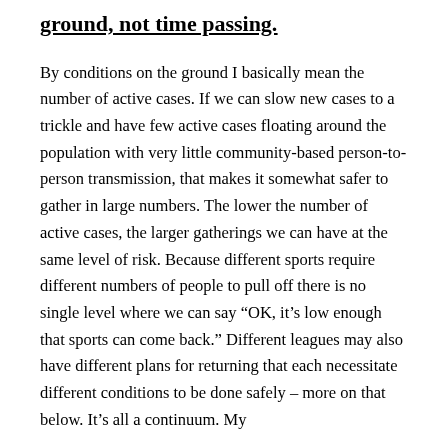ground, not time passing.
By conditions on the ground I basically mean the number of active cases. If we can slow new cases to a trickle and have few active cases floating around the population with very little community-based person-to-person transmission, that makes it somewhat safer to gather in large numbers. The lower the number of active cases, the larger gatherings we can have at the same level of risk. Because different sports require different numbers of people to pull off there is no single level where we can say “OK, it’s low enough that sports can come back.” Different leagues may also have different plans for returning that each necessitate different conditions to be done safely – more on that below. It’s all a continuum. My